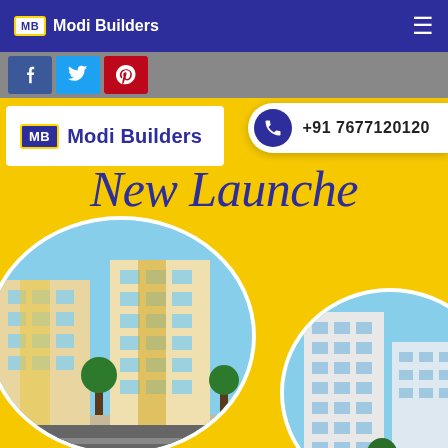MB Modi Builders
[Figure (screenshot): Social media share buttons: Facebook like, Twitter, Pinterest]
[Figure (infographic): Phone contact pill showing +91 7677120120]
[Figure (logo): MB Modi Builders logo on white box]
www.mo
New Launche
[Figure (photo): Circular cropped photo of a multi-storey residential apartment building, yellow and white facade]
[Figure (photo): Circular cropped photo of another multi-storey residential building, white facade with blue sky]